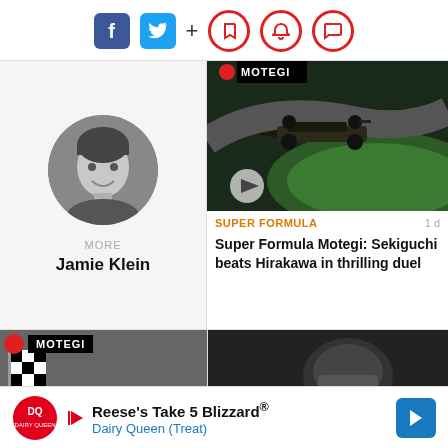[Figure (screenshot): Social media and notification icons: Facebook, Twitter, plus sign, bookmark, bell, chat bubble in red outline circles]
[Figure (photo): Circular black and white headshot of Jamie Klein, a young man smiling]
MORE
Jamie Klein
[Figure (photo): Formula car racing on track at Motegi, black race car mid-corner. Video play button overlay. MOTEGI badge with red dot at top.]
SUPER FORMULA
1 d
Super Formula Motegi: Sekiguchi beats Hirakawa in thrilling duel
[Figure (photo): Checkered flag being waved at Motegi race. MOTEGI badge with red dot at top left.]
[Figure (photo): Driver in cockpit, dark image]
[Figure (infographic): Dairy Queen advertisement: Reese's Take 5 Blizzard, with DQ logo and navigation arrow]